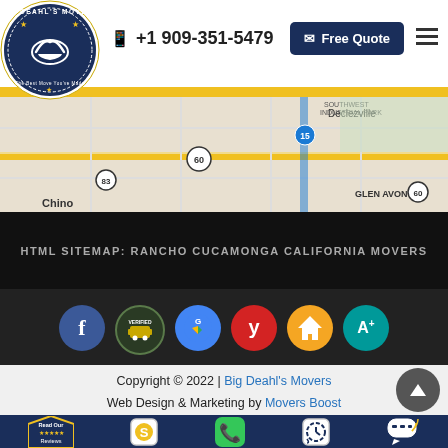[Figure (logo): Big Deahl's Movers circular logo — dark navy blue circle with white hands and stars]
+1 909-351-5479
Free Quote
[Figure (map): Google Maps view showing Chino, Glen Avon, Declezville, Southwest Industrial Park area with highways 60, 15, 83]
HTML SITEMAP: RANCHO CUCAMONGA CALIFORNIA MOVERS
[Figure (infographic): Row of social media and review icons: Facebook, verified bus icon, Google Maps, Yelp, HomeAdvisor, A+ rating]
Copyright © 2022 | Big Deahl's Movers
Web Design & Marketing by Movers Boost
[Figure (infographic): Bottom navigation bar with: Read Our Reviews badge, dollar sign quote icon, phone icon, clock/schedule icon, chat icon]